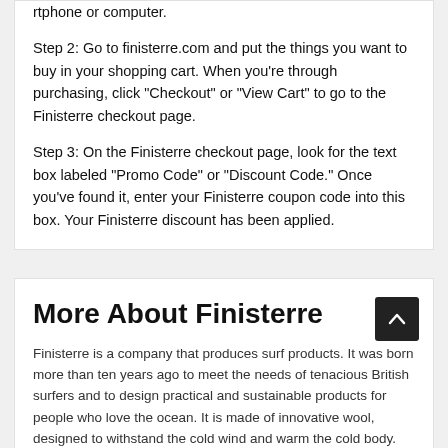rtphone or computer.
Step 2: Go to finisterre.com and put the things you want to buy in your shopping cart. When you're through purchasing, click "Checkout" or "View Cart" to go to the Finisterre checkout page.
Step 3: On the Finisterre checkout page, look for the text box labeled "Promo Code" or "Discount Code." Once you've found it, enter your Finisterre coupon code into this box. Your Finisterre discount has been applied.
More About Finisterre
Finisterre is a company that produces surf products. It was born more than ten years ago to meet the needs of tenacious British surfers and to design practical and sustainable products for people who love the ocean. It is made of innovative wool, designed to withstand the cold wind and warm the cold body. With the support of its customers and suppliers, the brand